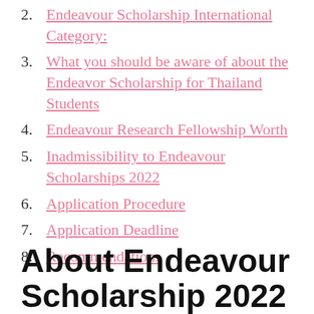2. Endeavour Scholarship International Category:
3. What you should be aware of about the Endeavor Scholarship for Thailand Students
4. Endeavour Research Fellowship Worth
5. Inadmissibility to Endeavour Scholarships 2022
6. Application Procedure
7. Application Deadline
8. Recommendations
About Endeavour Scholarship 2022